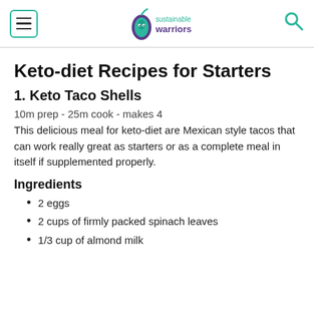Sustainable Warriors - navigation header
Keto-diet Recipes for Starters
1. Keto Taco Shells
10m prep - 25m cook - makes 4
This delicious meal for keto-diet are Mexican style tacos that can work really great as starters or as a complete meal in itself if supplemented properly.
Ingredients
2 eggs
2 cups of firmly packed spinach leaves
1/3 cup of almond milk